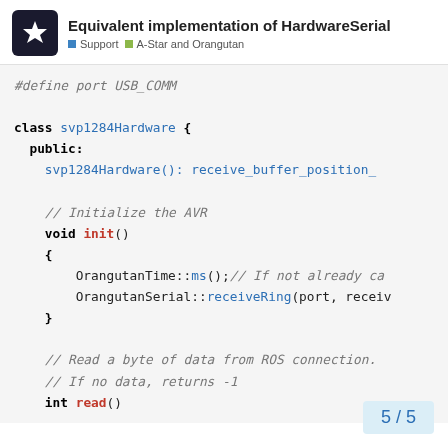Equivalent implementation of HardwareSerial | Support | A-Star and Orangutan
#define port USB_COMM

class svp1284Hardware {
  public:
    svp1284Hardware(): receive_buffer_position_

    // Initialize the AVR
    void init()
    {
        OrangutanTime::ms();// If not already ca
        OrangutanSerial::receiveRing(port, receiv
    }

    // Read a byte of data from ROS connection.
    // If no data, returns -1
    int read()
5 / 5